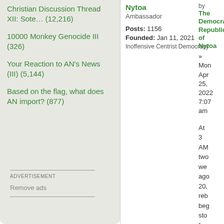Christian Discussion Thread XII: Sote… (12,216)
10000 Monkey Genocide III (326)
Your Reaction to AN's News (III) (5,144)
Based on the flag, what does AN import? (877)
ADVERTISEMENT
Remove ads
Nytoa
Ambassador
Posts: 1156
Founded: Jan 11, 2021
Inoffensive Centrist Democracy
by The Democratic Republic of Nytoa » Mon Apr 25, 2022 7:07 am
At 3 AM two we ago 20, reb beg sto fas mil bas in Joh